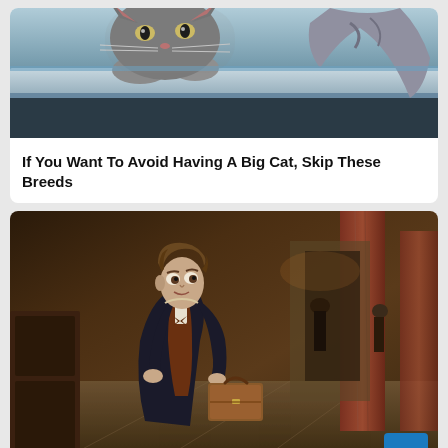[Figure (photo): A large grey cat peering over a white surface, with another grey cat or animal partially visible at the right edge. Shot from below looking up at the cat's face and paws.]
If You Want To Avoid Having A Big Cat, Skip These Breeds
[Figure (photo): A young man in Victorian-era clothing (dark coat, waistcoat, bow tie) running through an ornate hall carrying a brown leather suitcase. The setting appears to be a grand building with marble columns. Scene from Fantastic Beasts movie.]
Fantastic Beasts: The Crimes Of Grindelwald Make No Sense